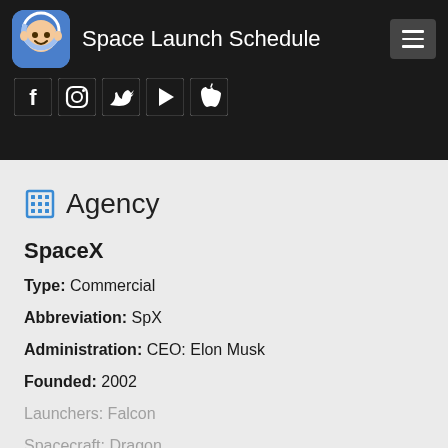Space Launch Schedule
[Figure (screenshot): App header with logo (monkey astronaut emoji), title 'Space Launch Schedule', hamburger menu button, and social media icons for Facebook, Instagram, Twitter, Google Play, and Apple]
Agency
SpaceX
Type: Commercial
Abbreviation: SpX
Administration: CEO: Elon Musk
Founded: 2002
Launchers: Falcon
Spacecraft: Dragon
Country: USA